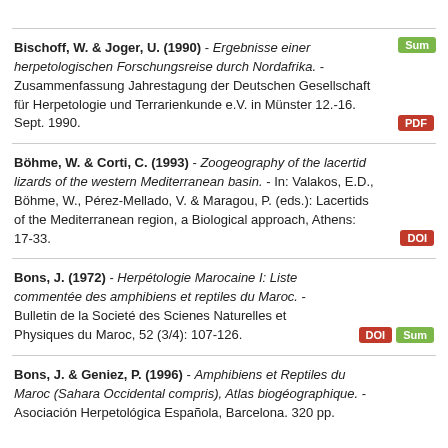Sum
Bischoff, W. & Joger, U. (1990) - Ergebnisse einer herpetologischen Forschungsreise durch Nordafrika. - Zusammenfassung Jahrestagung der Deutschen Gesellschaft für Herpetologie und Terrarienkunde e.V. in Münster 12.-16. Sept. 1990. PDF
Böhme, W. & Corti, C. (1993) - Zoogeography of the lacertid lizards of the western Mediterranean basin. - In: Valakos, E.D., Böhme, W., Pérez-Mellado, V. & Maragou, P. (eds.): Lacertids of the Mediterranean region, a Biological approach, Athens: 17-33. DOI
Bons, J. (1972) - Herpétologie Marocaine I: Liste commentée des amphibiens et reptiles du Maroc. - Bulletin de la Societé des Scienes Naturelles et Physiques du Maroc, 52 (3/4): 107-126. DOI Sum
Bons, J. & Geniez, P. (1996) - Amphibiens et Reptiles du Maroc (Sahara Occidental compris), Atlas biogéographique. - Asociación Herpetológica Española, Barcelona. 320 pp.